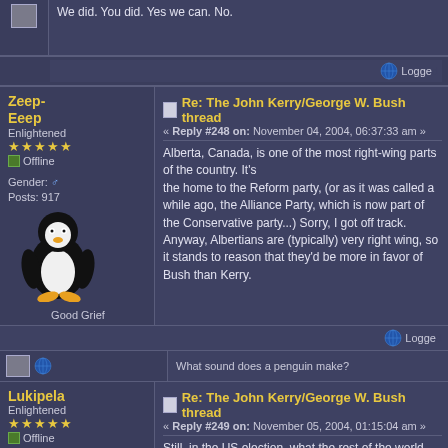We did. You did. Yes we can. No.
Logged
Zeep-Eeep
Re: The John Kerry/George W. Bush thread
« Reply #248 on: November 04, 2004, 06:37:33 am »
Alberta, Canada, is one of the most right-wing parts of the country. It's the home to the Reform party, (or as it was called a while ago, the Alliance Party, which is now part of the Conservatives party...) Sorry, I got off track. Anyway, Albertians are (typically) very right wing, so it stands to reason that they'd be more in favor of Bush than Kerry.
Logged
What sound does a penguin make?
Lukipela
Re: The John Kerry/George W. Bush thread
« Reply #249 on: November 05, 2004, 01:15:04 am »
Still, in the US election, what the rest of the world wants doesn't matter, does it? just as no finnish president is going to care about how those damn swedes tfeel about him.